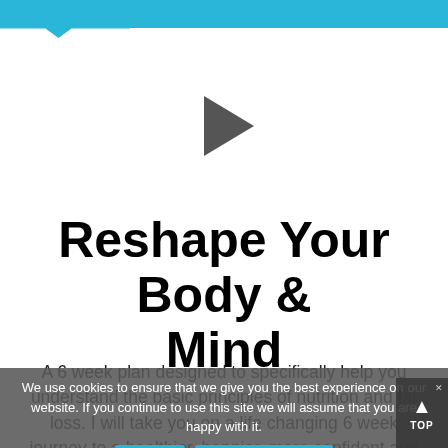Navigation bar with speech bubble
[Figure (other): Video player placeholder with white background and dark play button triangle in center]
Reshape Your Body & Mind
A 6 week plan designed to specifically help you understand the basic principles of nutrition and fat loss. I will take you on a life changing 6 week journey to a healthier, happier, more confident and leaner you. Let's change the way you think about 'dieting' as well as your relationship with food.
We use cookies to ensure that we give you the best experience on our website. If you continue to use this site we will assume that you are happy with it.